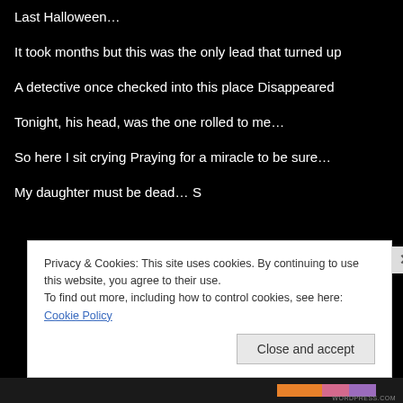Last Halloween…
It took months but this was the only lead that turned up
A detective once checked into this place
Disappeared
Tonight, his head, was the one rolled to me…
So here I sit crying
Praying for a miracle to be sure…
My daughter must be dead…
Privacy & Cookies: This site uses cookies. By continuing to use this website, you agree to their use.
To find out more, including how to control cookies, see here: Cookie Policy
Close and accept